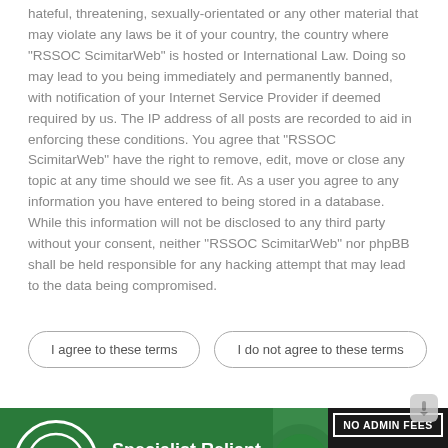hateful, threatening, sexually-orientated or any other material that may violate any laws be it of your country, the country where "RSSOC ScimitarWeb" is hosted or International Law. Doing so may lead to you being immediately and permanently banned, with notification of your Internet Service Provider if deemed required by us. The IP address of all posts are recorded to aid in enforcing these conditions. You agree that "RSSOC ScimitarWeb" have the right to remove, edit, move or close any topic at any time should we see fit. As a user you agree to any information you have entered to being stored in a database. While this information will not be disclosed to any third party without your consent, neither "RSSOC ScimitarWeb" nor phpBB shall be held responsible for any hacking attempt that may lead to the data being compromised.
I agree to these terms
I do not agree to these terms
[Figure (infographic): Advertisement banner for Specialist Reliant Scimitar insurance with RH logo, green background with car image, and 'NO ADMIN FEES' label on dark background]